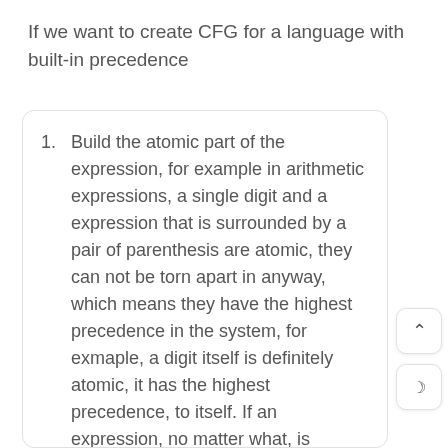If we want to create CFG for a language with built-in precedence
Build the atomic part of the expression, for example in arithmetic expressions, a single digit and a expression that is surrounded by a pair of parenthesis are atomic, they can not be torn apart in anyway, which means they have the highest precedence in the system, for exmaple, a digit itself is definitely atomic, it has the highest precedence, to itself. If an expression, no matter what, is surrounded by parenthese, then it can never be "seized" by any operator